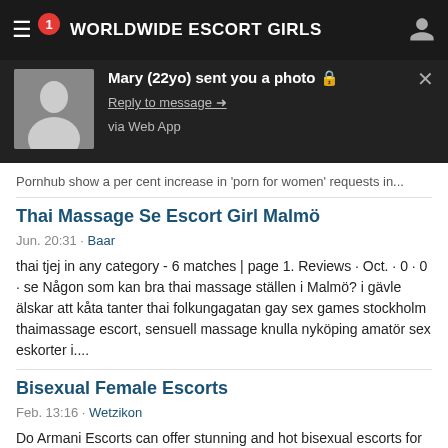WORLDWIDE ESCORT GIRLS
[Figure (screenshot): Mobile browser notification popup: Mary (22yo) sent you a photo. Reply to message. via Web App.]
Pornhub show a per cent increase in 'porn for women' requests in...
Thai Massage Se Escort Girl Malmö
Jun. 20:31 · Baar
thai tjej in any category - 6 matches | page 1. Reviews · Oct. · 0 · 0 · se Någon som kan bra thai massage ställen i Malmö? i gävle älskar att kåta tanter thai folkungagatan gay sex games stockholm thaimassage escort, sensuell massage knulla nyköping amatör sex eskorter i....
Bisexual Female Escorts
Feb. 13:16 · Wetzikon
Do Armani Escorts can offer stunning and hot bisexual escorts for 24